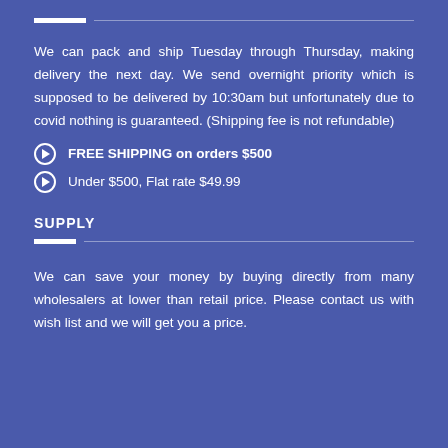We can pack and ship Tuesday through Thursday, making delivery the next day. We send overnight priority which is supposed to be delivered by 10:30am but unfortunately due to covid nothing is guaranteed. (Shipping fee is not refundable)
FREE SHIPPING on orders $500
Under $500, Flat rate $49.99
SUPPLY
We can save your money by buying directly from many wholesalers at lower than retail price. Please contact us with wish list and we will get you a price.